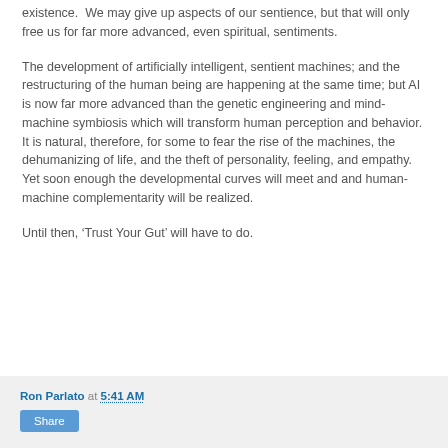existence.  We may give up aspects of our sentience, but that will only free us for far more advanced, even spiritual, sentiments.
The development of artificially intelligent, sentient machines; and the restructuring of the human being are happening at the same time; but AI is now far more advanced than the genetic engineering and mind-machine symbiosis which will transform human perception and behavior.  It is natural, therefore, for some to fear the rise of the machines, the dehumanizing of life, and the theft of personality, feeling, and empathy.   Yet soon enough the developmental curves will meet and and human-machine complementarity will be realized.
Until then, ‘Trust Your Gut’ will have to do.
Ron Parlato at 5:41 AM
Share